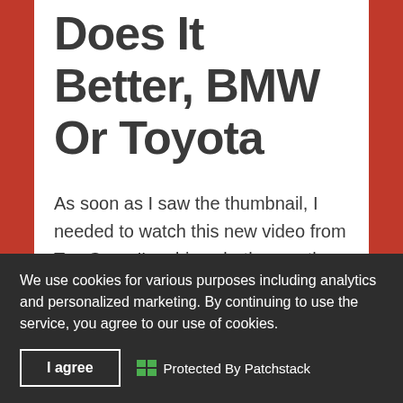Does It Better, BMW Or Toyota
As soon as I saw the thumbnail, I needed to watch this new video from Top Gear. I've driven both cars, the Toyota Supra and Toyota GR86, but about two years apart, so while I have an idea which car is
We use cookies for various purposes including analytics and personalized marketing. By continuing to use the service, you agree to our use of cookies.
I agree
Protected By Patchstack